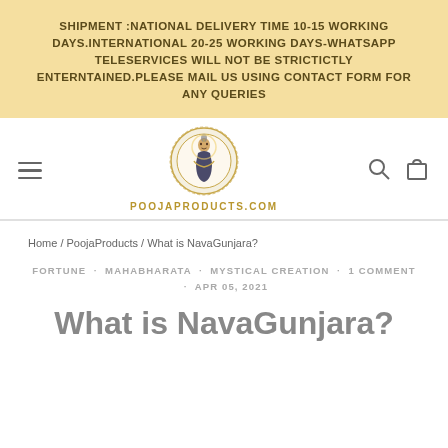SHIPMENT :NATIONAL DELIVERY TIME 10-15 WORKING DAYS.INTERNATIONAL 20-25 WORKING DAYS-WHATSAPP TELESERVICES WILL NOT BE STRICTICTLY ENTERNTAINED.PLEASE MAIL US USING CONTACT FORM FOR ANY QUERIES
[Figure (logo): PoojaProducts.com logo - circular emblem with deity figure in center, surrounded by decorative border]
Home / PoojaProducts / What is NavaGunjara?
FORTUNE · MAHABHARATA · MYSTICAL CREATION · 1 COMMENT · APR 05, 2021
What is NavaGunjara?